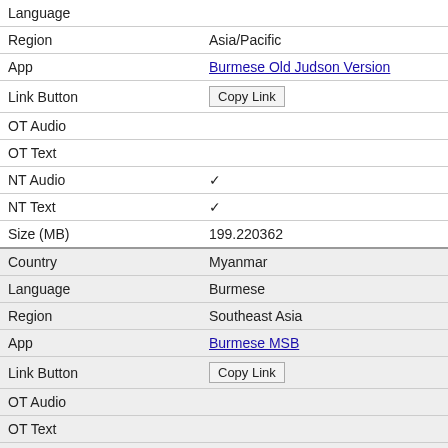| Field | Value |
| --- | --- |
| Language |  |
| Region | Asia/Pacific |
| App | Burmese Old Judson Version |
| Link Button | Copy Link |
| OT Audio |  |
| OT Text |  |
| NT Audio | ✓ |
| NT Text | ✓ |
| Size (MB) | 199.220362 |
| Country | Myanmar |
| Language | Burmese |
| Region | Southeast Asia |
| App | Burmese MSB |
| Link Button | Copy Link |
| OT Audio |  |
| OT Text |  |
| NT Audio | ✓ |
| NT Text | ✓ |
| Size (MB) | 200.037055 |
| Country | Papua New Guinea |
| Language | Burum-Mindik |
| Region | Pacific |
| App | Burum-Mindik PNG Bible |